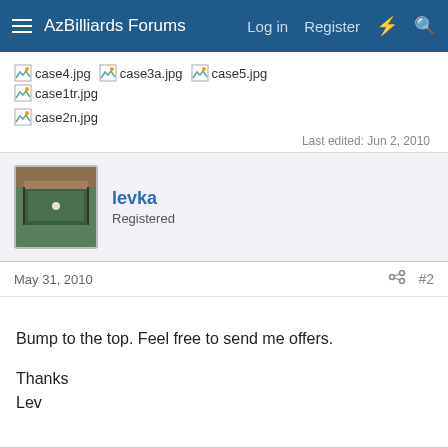AzBilliards Forums  Log in  Register
[Figure (other): Broken image thumbnails for case4.jpg, case3a.jpg, case5.jpg, case1tr.jpg, case2n.jpg]
Last edited: Jun 2, 2010
levka
Registered
May 31, 2010  #2
Bump to the top. Feel free to send me offers.

Thanks
Lev
JimS
Grandpa & his grand boys  Silver Member